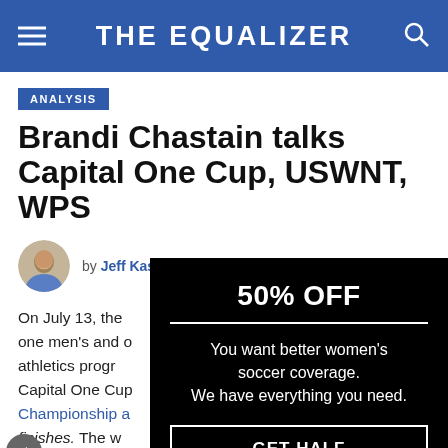THE EQUALIZER
ANALYSIS
Brandi Chastain talks Capital One Cup, USWNT, WPS
by Jeff Kassouf  May 19, 2011
On July 13, the [Capital One Cup pits] one men's and [one women's] athletics progra[m against each other.] Capital One Cup[... National] Championship a[nd the team that] finishes.  The w[inner of the] pital One Cup[...]
[Figure (infographic): Black overlay advertisement: 50% OFF headline, divider line, text 'You want better women's soccer coverage. We have everything you need.', CTA button 'GET HALF OFF']